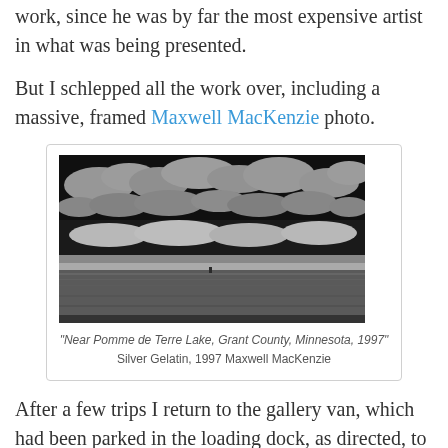work, since he was by far the most expensive artist in what was being presented.
But I schlepped all the work over, including a massive, framed Maxwell MacKenzie photo.
[Figure (photo): Black and white panoramic landscape photograph showing a wide, flat lake or plain under a dramatic sky filled with clouds. Titled 'Near Pomme de Terre Lake, Grant County, Minnesota, 1997', Silver Gelatin, 1997 Maxwell MacKenzie.]
"Near Pomme de Terre Lake, Grant County, Minnesota, 1997"
Silver Gelatin, 1997 Maxwell MacKenzie
After a few trips I return to the gallery van, which had been parked in the loading dock, as directed, to find it blocked by a truck delivering paper supplies. I ask the guy nicely if he can please move a foot so that I can leave. He cusses me out.
I then waste 10 minutes of cussing and yelling